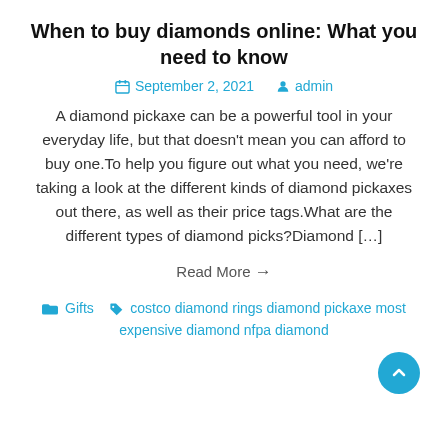When to buy diamonds online: What you need to know
September 2, 2021   admin
A diamond pickaxe can be a powerful tool in your everyday life, but that doesn't mean you can afford to buy one.To help you figure out what you need, we're taking a look at the different kinds of diamond pickaxes out there, as well as their price tags.What are the different types of diamond picks?Diamond […]
Read More →
Gifts   costco diamond rings diamond pickaxe most expensive diamond nfpa diamond